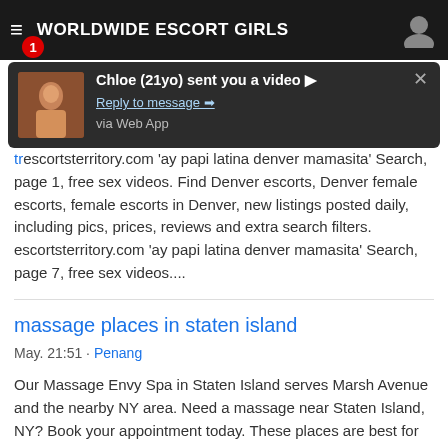WORLDWIDE ESCORT GIRLS
[Figure (screenshot): Notification popup: 'Chloe (21yo) sent you a video ▶ Reply to message ➡ via Web App' with thumbnail image]
escortsterritory.com 'ay papi latina denver mamasita' Search, page 1, free sex videos. Find Denver escorts, Denver female escorts, female escorts in Denver, new listings posted daily, including pics, prices, reviews and extra search filters. escortsterritory.com 'ay papi latina denver mamasita' Search, page 7, free sex videos....
massage places in staten island
May. 21:51 · Penang
Our Massage Envy Spa in Staten Island serves Marsh Avenue and the nearby NY area. Need a massage near Staten Island, NY? Book your appointment today. These places are best for spas & wellness in Staten Island: Seed & Rooted · Yoga and Melody · Remedi Spa · A.F. Bennett Salon & Wellness Spa · The Secret Garden. Remedi Spa: Great massage - awesome atmosphere - See 4 traveler reviews, candid photos, and great deals for Staten Island, NY at Tripadvisor. LaVida